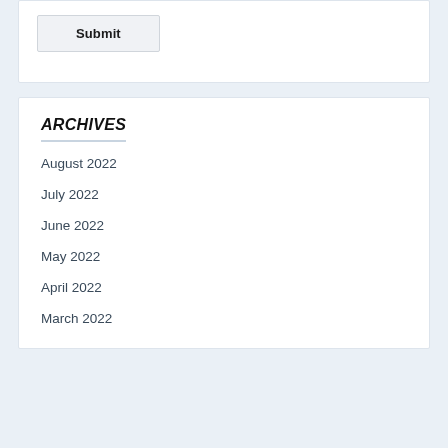Submit
ARCHIVES
August 2022
July 2022
June 2022
May 2022
April 2022
March 2022